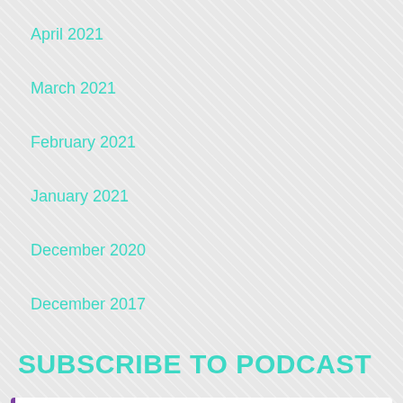April 2021
March 2021
February 2021
January 2021
December 2020
December 2017
SUBSCRIBE TO PODCAST
Apple Podcasts
Google Podcasts